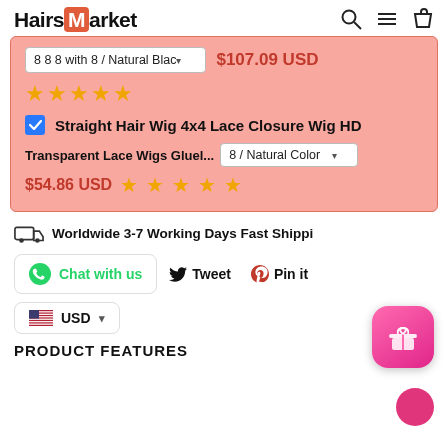HairsMarket
[Figure (screenshot): Product card with variant selector, price $107.09 USD, star rating, checkbox for Straight Hair Wig 4x4 Lace Closure Wig HD, secondary product with color selector, price $54.86 USD and stars]
Worldwide 3-7 Working Days Fast Shipping
Chat with us   Tweet   Pin it
USD
PRODUCT FEATURES